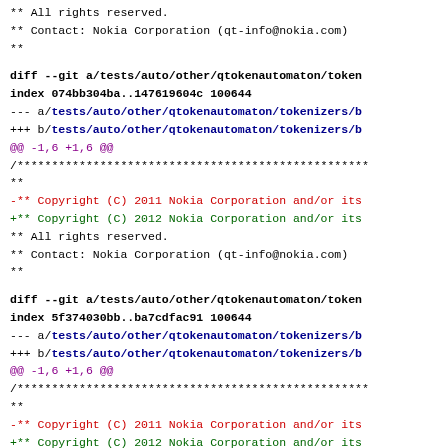** All rights reserved.
 ** Contact: Nokia Corporation (qt-info@nokia.com)
 **
diff --git a/tests/auto/other/qtokenautomaton/token
index 074bb304ba..147619604c 100644
--- a/tests/auto/other/qtokenautomaton/tokenizers/b
+++ b/tests/auto/other/qtokenautomaton/tokenizers/b
@@ -1,6 +1,6 @@
 /***
 **
-** Copyright (C) 2011 Nokia Corporation and/or its
+** Copyright (C) 2012 Nokia Corporation and/or its
 ** All rights reserved.
 ** Contact: Nokia Corporation (qt-info@nokia.com)
 **
diff --git a/tests/auto/other/qtokenautomaton/token
index 5f374030bb..ba7cdfac91 100644
--- a/tests/auto/other/qtokenautomaton/tokenizers/b
+++ b/tests/auto/other/qtokenautomaton/tokenizers/b
@@ -1,6 +1,6 @@
 /***
 **
-** Copyright (C) 2011 Nokia Corporation and/or its
+** Copyright (C) 2012 Nokia Corporation and/or its
 ** All rights reserved.
 ** Contact: Nokia Corporation (qt-info@nokia.com)
 **
diff --git a/tests/auto/other/qtokenautomaton/token...